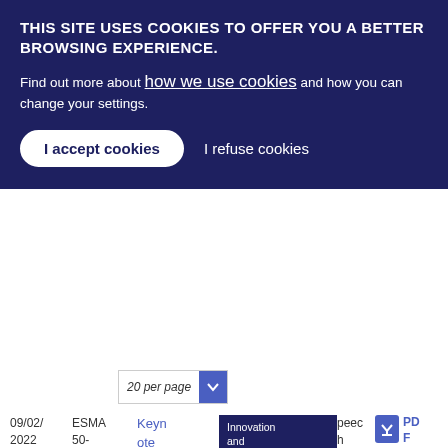THIS SITE USES COOKIES TO OFFER YOU A BETTER BROWSING EXPERIENCE.
Find out more about how we use cookies and how you can change your settings.
I accept cookies
I refuse cookies
20 per page
| Date | Reference | Title | Category | Type | File |
| --- | --- | --- | --- | --- | --- |
| 09/02/2022 | ESMA 50-164-5533 | Keynote Speech- Verena Ross - Keeping | Innovation and Products / Speeches | Speech | PDF 195.47 KB |